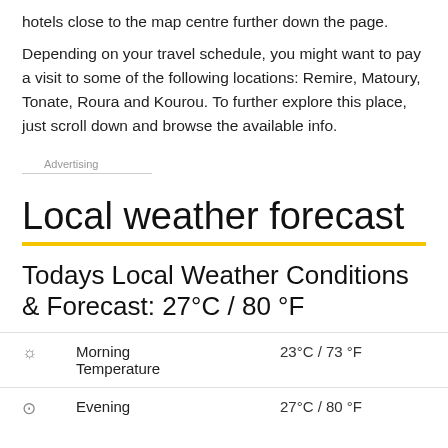hotels close to the map centre further down the page.
Depending on your travel schedule, you might want to pay a visit to some of the following locations: Remire, Matoury, Tonate, Roura and Kourou. To further explore this place, just scroll down and browse the available info.
Advertising
Local weather forecast
Todays Local Weather Conditions & Forecast: 27°C / 80 °F
|  | Label | Value |
| --- | --- | --- |
| ☀ | Morning Temperature | 23°C / 73 °F |
| ⊙ | Evening | 27°C / 80 °F |